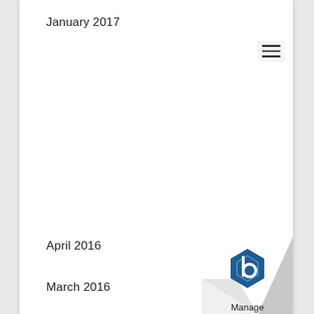January 2017
[Figure (illustration): Hamburger menu icon (three horizontal lines) in a light gray box in the upper right corner of the page]
April 2016
March 2016
[Figure (illustration): Page curl effect in bottom right corner with a blue hexagonal 'b' logo and the word 'Manage' beneath it]